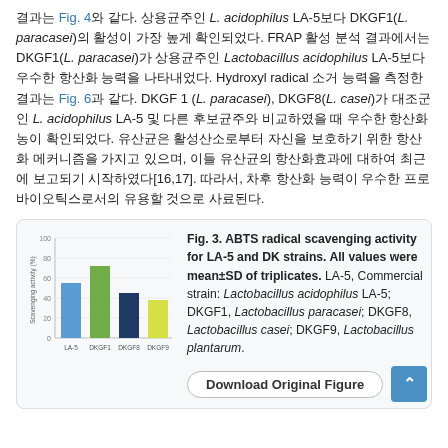결과는 Fig. 4와 같다. 상용균주인 L. acidophilus LA-5보다 DKGF1(L. paracasei)의 활성이 가장 높게 확인되었다. FRAP 활성 분석 결과에서는 DKGF1(L. paracasei)가 상용균주인 Lactobacillus acidophilus LA-5보다 우수한 항산화 능력을 나타내었다. Hydroxyl radical 소거 능력을 측정한 결과는 Fig. 6과 같다. DKGF 1 (L. paracasei), DKGF8(L. casei)가 대조군인 L. acidophilus LA-5 및 다른 후보균주와 비교하였을 때 우수한 항산화농이 확인되었다. 유산균은 활성산소로부터 자신을 보호하기 위한 항산화 메커니즘을 가지고 있으며, 이들 유산균의 항산화효과에 대하여 최근에 보고되기 시작하였다[16,17]. 따라서, 차후 항산화 능력이 우수한 프로바이오틱스로서의 유용할 것으로 사료된다.
[Figure (bar-chart): ABTS radical scavenging activity]
Fig. 3. ABTS radical scavenging activity for LA-5 and DK strains. All values were mean±SD of triplicates. LA-5, Commercial strain: Lactobacillus acidophilus LA-5; DKGF1, Lactobacillus paracasei; DKGF8, Lactobacillus casei; DKGF9, Lactobacillus plantarum.